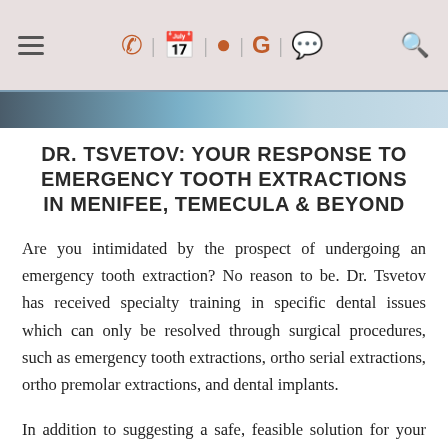[Navigation bar with hamburger menu, phone, calendar, location, Google, chat icons, and search icon]
[Figure (photo): Partial photo strip showing a dental office or similar medical environment]
DR. TSVETOV: YOUR RESPONSE TO EMERGENCY TOOTH EXTRACTIONS IN MENIFEE, TEMECULA & BEYOND
Are you intimidated by the prospect of undergoing an emergency tooth extraction? No reason to be. Dr. Tsvetov has received specialty training in specific dental issues which can only be resolved through surgical procedures, such as emergency tooth extractions, ortho serial extractions, ortho premolar extractions, and dental implants.
In addition to suggesting a safe, feasible solution for your current problem to prevent it from escalating, Dr.